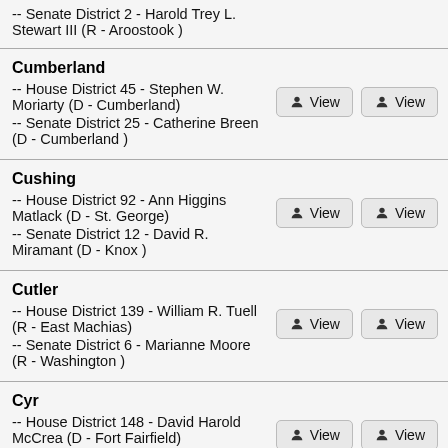-- Senate District 2 - Harold Trey L. Stewart III (R - Aroostook )
Cumberland
-- House District 45 - Stephen W. Moriarty (D - Cumberland)
-- Senate District 25 - Catherine Breen (D - Cumberland )
Cushing
-- House District 92 - Ann Higgins Matlack (D - St. George)
-- Senate District 12 - David R. Miramant (D - Knox )
Cutler
-- House District 139 - William R. Tuell (R - East Machias)
-- Senate District 6 - Marianne Moore (R - Washington )
Cyr
-- House District 148 - David Harold McCrea (D - Fort Fairfield)